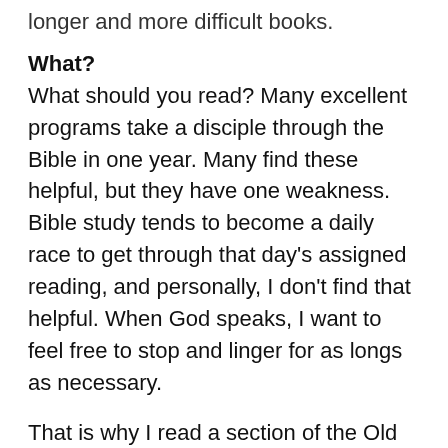longer and more difficult books.
What?
What should you read? Many excellent programs take a disciple through the Bible in one year. Many find these helpful, but they have one weakness. Bible study tends to become a daily race to get through that day's assigned reading, and personally, I don't find that helpful. When God speaks, I want to feel free to stop and linger for as longs as necessary.
That is why I read a section of the Old Testament, the Pentateuch, for example, then a section of the New Testament, maybe Paul's letters. Then I return to a section of the Old Testament and vice versa. It may take five weeks to study the Pentateuch. That's OK. I